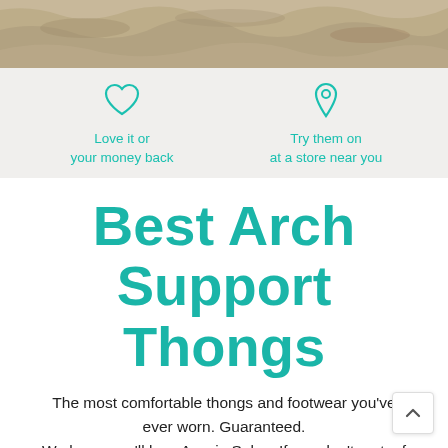[Figure (photo): Sandy/rocky surface landscape photo at top of page with teal top border stripe]
Love it or your money back
Try them on at a store near you
Best Arch Support Thongs
The most comfortable thongs and footwear you've ever worn. Guaranteed.
We know you'll love Aussie Soles. If you don't, get a f refund.